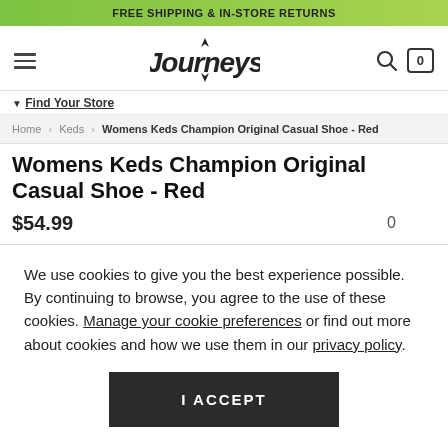FREE SHIPPING & IN-STORE RETURNS
[Figure (logo): Journeys logo with navigation hamburger menu, search icon, and cart icon showing 0]
Find Your Store
Home > Keds > Womens Keds Champion Original Casual Shoe - Red
Womens Keds Champion Original Casual Shoe - Red
$54.99   0
We use cookies to give you the best experience possible. By continuing to browse, you agree to the use of these cookies. Manage your cookie preferences or find out more about cookies and how we use them in our privacy policy.
I ACCEPT